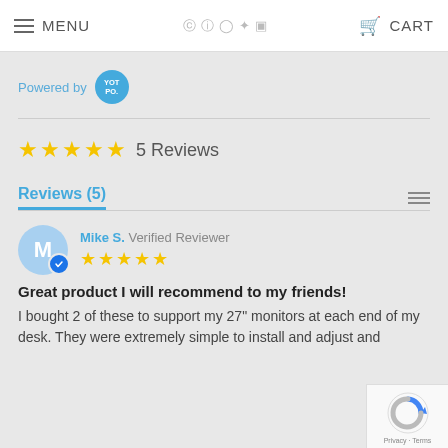MENU  CART
Powered by YOTPO
★★★★★ 5 Reviews
Reviews (5)
Mike S. Verified Reviewer ★★★★★
Great product I will recommend to my friends!
I bought 2 of these to support my 27" monitors at each end of my desk. They were extremely simple to install and adjust and